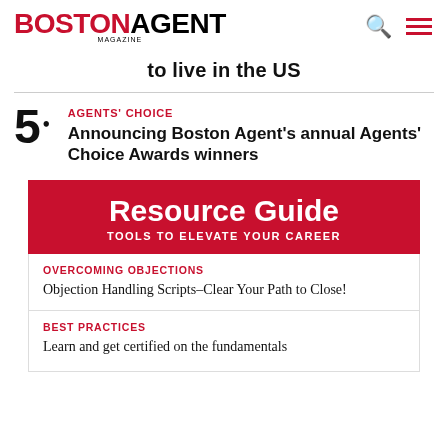BOSTON AGENT MAGAZINE
to live in the US
AGENTS' CHOICE
Announcing Boston Agent's annual Agents' Choice Awards winners
Resource Guide — TOOLS TO ELEVATE YOUR CAREER
OVERCOMING OBJECTIONS
Objection Handling Scripts–Clear Your Path to Close!
BEST PRACTICES
Learn and get certified on the fundamentals